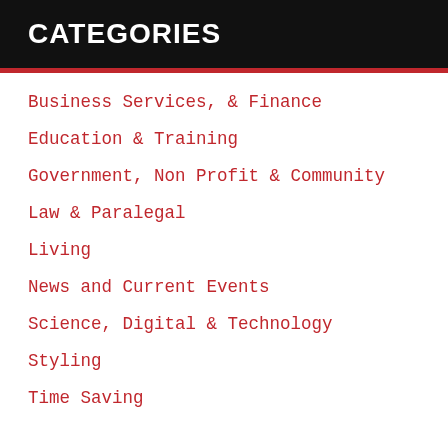CATEGORIES
Business Services, & Finance
Education & Training
Government, Non Profit & Community
Law & Paralegal
Living
News and Current Events
Science, Digital & Technology
Styling
Time Saving